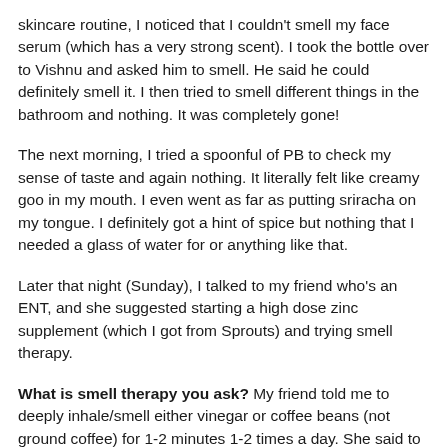skincare routine, I noticed that I couldn't smell my face serum (which has a very strong scent). I took the bottle over to Vishnu and asked him to smell. He said he could definitely smell it. I then tried to smell different things in the bathroom and nothing. It was completely gone!
The next morning, I tried a spoonful of PB to check my sense of taste and again nothing. It literally felt like creamy goo in my mouth. I even went as far as putting sriracha on my tongue. I definitely got a hint of spice but nothing that I needed a glass of water for or anything like that.
Later that night (Sunday), I talked to my friend who's an ENT, and she suggested starting a high dose zinc supplement (which I got from Sprouts) and trying smell therapy.
What is smell therapy you ask? My friend told me to deeply inhale/smell either vinegar or coffee beans (not ground coffee) for 1-2 minutes 1-2 times a day. She said to really imagine